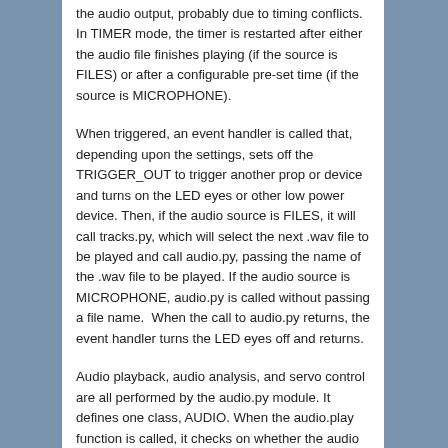the audio output, probably due to timing conflicts. In TIMER mode, the timer is restarted after either the audio file finishes playing (if the source is FILES) or after a configurable pre-set time (if the source is MICROPHONE).
When triggered, an event handler is called that, depending upon the settings, sets off the TRIGGER_OUT to trigger another prop or device and turns on the LED eyes or other low power device. Then, if the audio source is FILES, it will call tracks.py, which will select the next .wav file to be played and call audio.py, passing the name of the .wav file to be played. If the audio source is MICROPHONE, audio.py is called without passing a file name.  When the call to audio.py returns, the event handler turns the LED eyes off and returns.
Audio playback, audio analysis, and servo control are all performed by the audio.py module. It defines one class, AUDIO. When the audio.play function is called, it checks on whether the audio source is MICROPHONE or FILES and opens a PyAudio stream appropriately. The stream